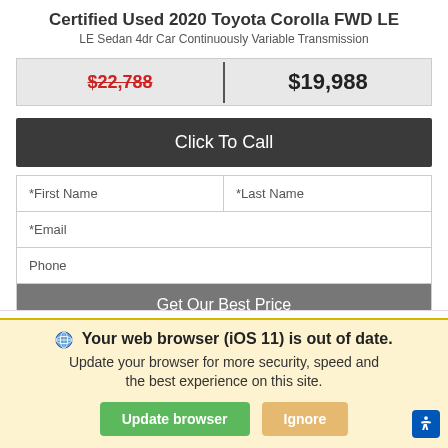Certified Used 2020 Toyota Corolla FWD LE
LE Sedan 4dr Car Continuously Variable Transmission
| $22,788 | $19,988 |
Click To Call
*First Name
*Last Name
*Email
Phone
Get Our Best Price
We use cookies to optimize our website and our service.
Cookie Policy   Privacy Statement
Your web browser (iOS 11) is out of date. Update your browser for more security, speed and the best experience on this site.
Update browser
Ignore